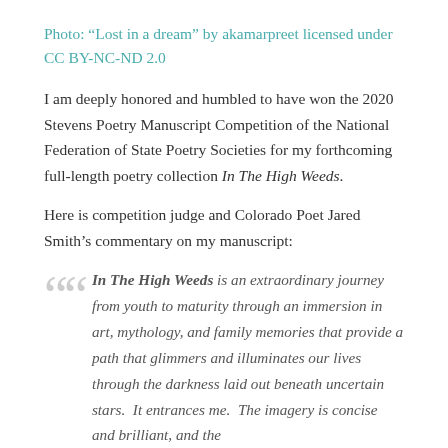Photo: “Lost in a dream” by akamarpreet licensed under CC BY-NC-ND 2.0
I am deeply honored and humbled to have won the 2020 Stevens Poetry Manuscript Competition of the National Federation of State Poetry Societies for my forthcoming full-length poetry collection In The High Weeds.
Here is competition judge and Colorado Poet Jared Smith’s commentary on my manuscript:
In The High Weeds is an extraordinary journey from youth to maturity through an immersion in art, mythology, and family memories that provide a path that glimmers and illuminates our lives through the darkness laid out beneath uncertain stars.  It entrances me.  The imagery is concise and brilliant, and the